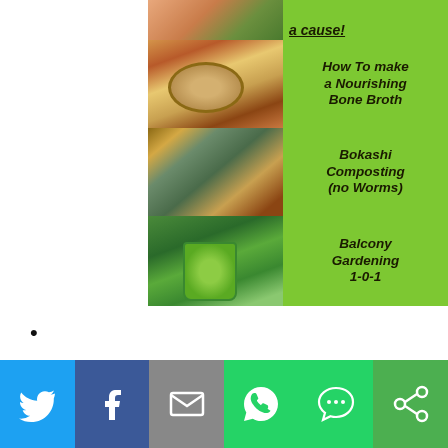[Figure (infographic): Partial card at top: image on left with green label on right showing partial text (cut off)]
[Figure (infographic): Card showing bone broth photo on left and green label 'How To make a Nourishing Bone Broth' on right]
[Figure (infographic): Card showing compost scraps photo on left and green label 'Bokashi Composting (no Worms)' on right]
[Figure (infographic): Card showing balcony plant photo on left and green label 'Balcony Gardening 1-0-1' on right]
•
[Figure (infographic): Social sharing bar with Twitter, Facebook, Mail, WhatsApp, SMS, and other share buttons]